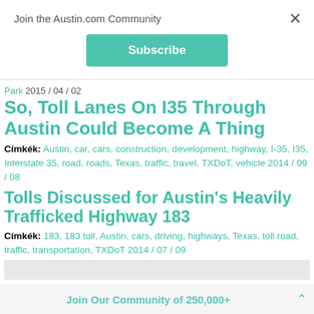Join the Austin.com Community
Subscribe
Park 2015 / 04 / 02
So, Toll Lanes On I35 Through Austin Could Become A Thing
Címkék: Austin, car, cars, construction, development, highway, I-35, I35, Interstate 35, road, roads, Texas, traffic, travel, TXDoT, vehicle 2014 / 09 / 08
Tolls Discussed for Austin's Heavily Trafficked Highway 183
Címkék: 183, 183 toll, Austin, cars, driving, highways, Texas, toll road, traffic, transportation, TXDoT 2014 / 07 / 09
Join Our Community of 250,000+